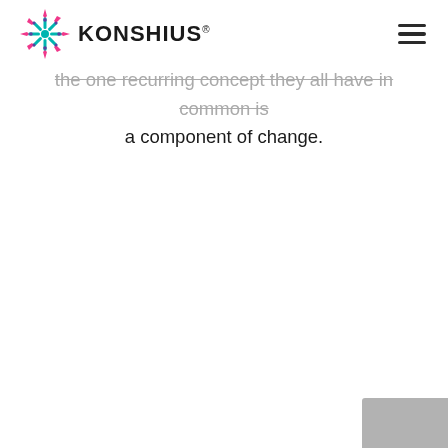KONSHIUS
the one recurring concept they all have in common is a component of change.